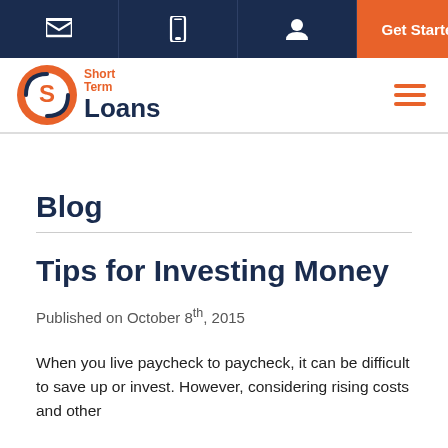Short Term Loans — navigation bar with email, phone, account icons and Get Started button
[Figure (logo): Short Term Loans logo — orange circular S icon with Short Term Loans text]
Blog
Tips for Investing Money
Published on October 8th, 2015
When you live paycheck to paycheck, it can be difficult to save up or invest. However, considering rising costs and other